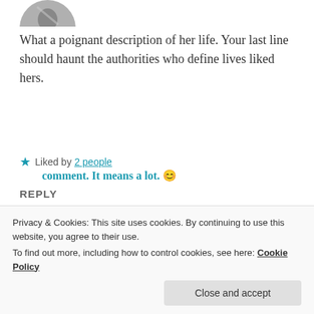[Figure (photo): Partial avatar image at top, showing grayscale photo cropped at bottom of page]
What a poignant description of her life. Your last line should haunt the authorities who define lives liked hers.
★ Liked by 2 people
REPLY
[Figure (photo): Circular avatar photo of Hemalatha Ramesh, blue sky background]
HEMALATHA RAMESH
December 28, 2020 at 11:18 am
comment. It means a lot. 😊
Privacy & Cookies: This site uses cookies. By continuing to use this website, you agree to their use.
To find out more, including how to control cookies, see here: Cookie Policy
Close and accept